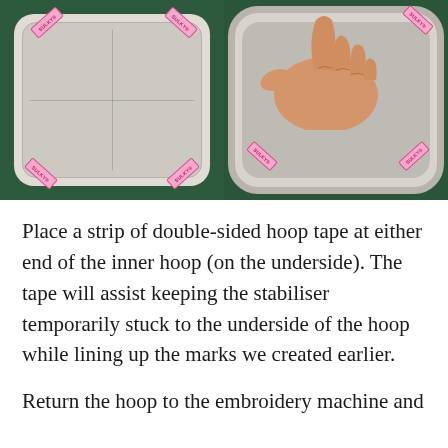[Figure (photo): Two side-by-side photos. Left photo shows the underside of an embroidery hoop inner ring lying flat on a green cutting mat, with white stabilizer fabric and strips of pink double-sided hoop tape at each corner. Right photo shows a hand pressing down on the white stabilizer fabric inside the inner hoop frame, also on a green cutting mat, with pink tape strips visible.]
Place a strip of double-sided hoop tape at either end of the inner hoop (on the underside). The tape will assist keeping the stabiliser temporarily stuck to the underside of the hoop while lining up the marks we created earlier.
Return the hoop to the embroidery machine and